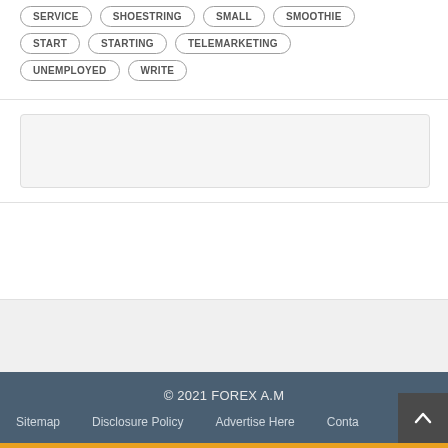SERVICE
SHOESTRING
SMALL
SMOOTHIE
START
STARTING
TELEMARKETING
UNEMPLOYED
WRITE
[Figure (other): Advertisement placeholder box (empty gray rectangle)]
[Figure (other): Advertisement placeholder area (empty)]
© 2021 FOREX A.M
Sitemap   Disclosure Policy   Advertise Here   Contact
Sitemap
Disclosure Policy
Advertise Here
Contact